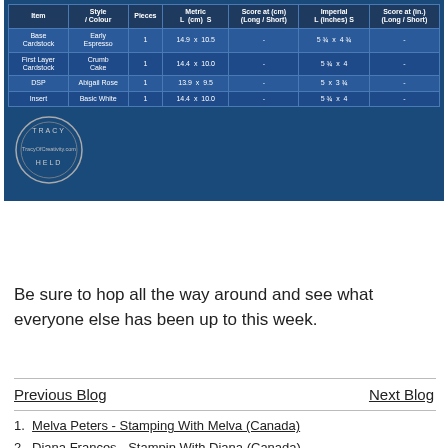| Item | Style / Colour | Pieces | Metric L (cm) S | Score at (cm) (Long / Short) | Imperial L (inches) S | Score at (in.) (Long / Short) |
| --- | --- | --- | --- | --- | --- | --- |
| Base Cardstock | Early Espresso | 1 | 14.9  x  10.5 | - | 5 ¾  x  4 ¾ | - |
| First Layer Cardstock | Crumb Cake | 1 | 14.4  x  10.0 | - | 5 ¾  x  4 | - |
| DSP | Abigail Rose | 1 | 13.9  x  9.5 | - | 5  x  3 ¾ | - |
| Insert | Basic White | 1 | 14.4  x  10.0 | - | 5 ¾  x  4 | - |
[Figure (logo): Tracy Held circular logo with TracyOfCreativity.com text]
Be sure to hop all the way around and see what everyone else has been up to this week.
Previous Blog
Next Blog
1. Melva Peters - Stamping With Melva (Canada)
2. Diana Frances - Stampin With Diana (Canada)